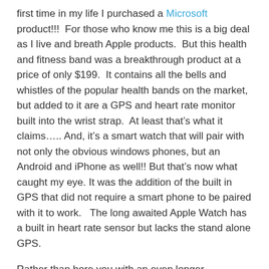first time in my life I purchased a Microsoft product!!!  For those who know me this is a big deal as I live and breath Apple products.  But this health and fitness band was a breakthrough product at a price of only $199.  It contains all the bells and whistles of the popular health bands on the market, but added to it are a GPS and heart rate monitor built into the wrist strap.  At least that's what it claims….. And, it's a smart watch that will pair with not only the obvious windows phones, but an Android and iPhone as well!! But that's now what caught my eye. It was the addition of the built in GPS that did not require a smart phone to be paired with it to work.   The long awaited Apple Watch has a built in heart rate sensor but lacks the stand alone GPS.
Rather than bore you with an even longer introduction, here's my thoughts of this “Microsoft Band”!!!  My review is more focused on the running options of this watch.